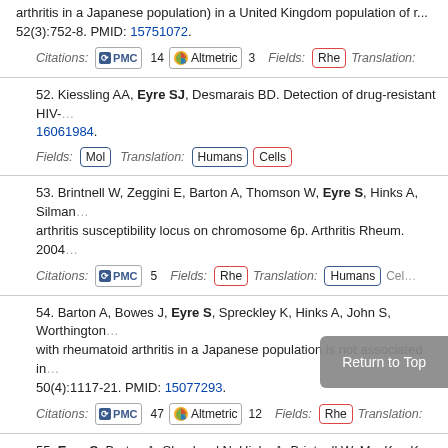arthritis in a Japanese population) in a United Kingdom population of r... 52(3):752-8. PMID: 15751072.
Citations: PMC 14 | Altmetric 3 | Fields: Rhe | Translation:
52. Kiessling AA, Eyre SJ, Desmarais BD. Detection of drug-resistant HIV-... 16061984.
Fields: Mol | Translation: Humans | Cells
53. Brintnell W, Zeggini E, Barton A, Thomson W, Eyre S, Hinks A, Silman... arthritis susceptibility locus on chromosome 6p. Arthritis Rheum. 2004...
Citations: PMC 5 | Fields: Rhe | Translation: Humans | Cel...
54. Barton A, Bowes J, Eyre S, Spreckley K, Hinks A, John S, Worthington... with rheumatoid arthritis in a Japanese population is not associated in... 50(4):1117-21. PMID: 15077293.
Citations: PMC 47 | Altmetric 12 | Fields: Rhe | Translation:
55. Eyre S, Barton A, Shephard N, Hinks A, Brintnell W, MacKay K, Silman... Investigation of susceptibility loci identified in the UK rheumatoid arthr... affected sibling pairs. Arthritis Rheum. 2004 Ma... PMID:
Citations: PMC 10 | Fields: Rhe | Tr... | Cel...